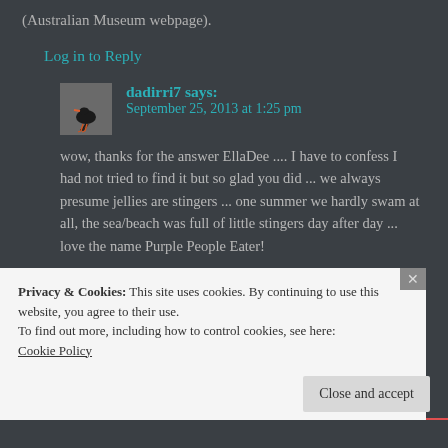(Australian Museum webpage).
Log in to Reply
dadirri7 says:
September 25, 2013 at 1:25 pm
wow, thanks for the answer EllaDee .... I have to confess I had not tried to find it but so glad you did ... we always presume jellies are stingers ... one summer we hardly swam at all, the sea/beach was full of little stingers day after day ... love the name Purple People Eater!
Privacy & Cookies: This site uses cookies. By continuing to use this website, you agree to their use.
To find out more, including how to control cookies, see here:
Cookie Policy
Close and accept